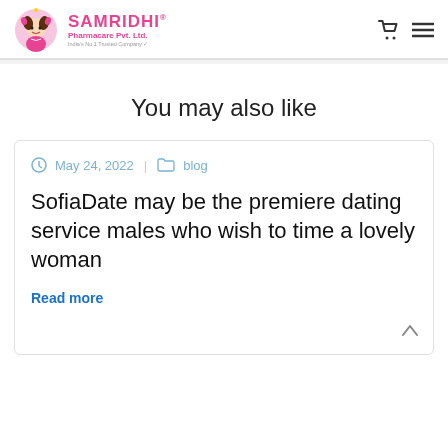SAMRIDHI® Pharmacare Pvt. Ltd.
You may also like
May 24, 2022 | blog
SofiaDate may be the premiere dating service males who wish to time a lovely woman
Read more